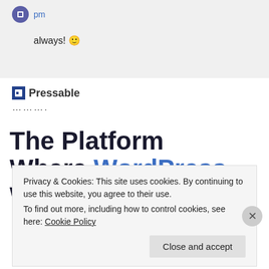always! 🙂
Pressable
………..
The Platform Where WordPress Works Best
Privacy & Cookies: This site uses cookies. By continuing to use this website, you agree to their use. To find out more, including how to control cookies, see here: Cookie Policy
Close and accept